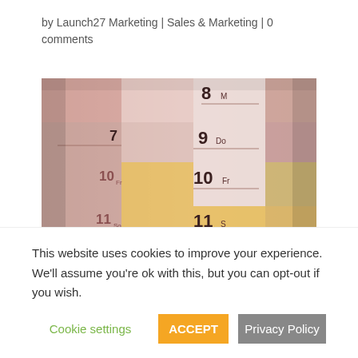by Launch27 Marketing | Sales & Marketing | 0 comments
[Figure (photo): Close-up photograph of a physical wall calendar showing dates 8 through 12, with some dates highlighted in yellow/gold and others in pink/beige tones, viewed at a slight angle]
A cleaning business appointment
This website uses cookies to improve your experience. We'll assume you're ok with this, but you can opt-out if you wish.
Cookie settings  ACCEPT  Privacy Policy